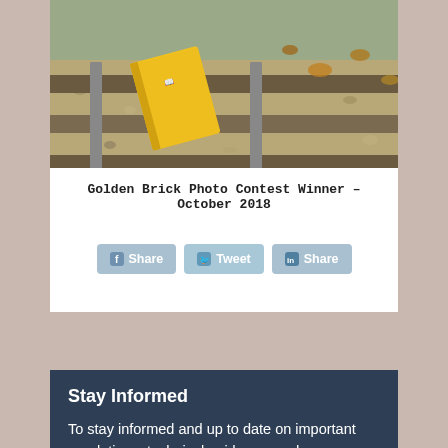[Figure (photo): Yellow notebook/book lying on railway tracks with gravel and wooden ties, taken from above.]
Golden Brick Photo Contest Winner – October 2018
[Figure (infographic): Social sharing buttons: Facebook Share, Twitter Tweet, LinkedIn Share]
Stay Informed
To stay informed and up to date on important regulations, technical guidance, and news, please join our email list